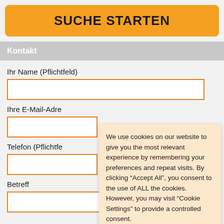SUCHE STARTEN
Kontakt
Ihr Name (Pflichtfeld)
Ihre E-Mail-Adre
Telefon (Pflichtfe
Betreff
We use cookies on our website to give you the most relevant experience by remembering your preferences and repeat visits. By clicking "Accept All", you consent to the use of ALL the cookies. However, you may visit "Cookie Settings" to provide a controlled consent.